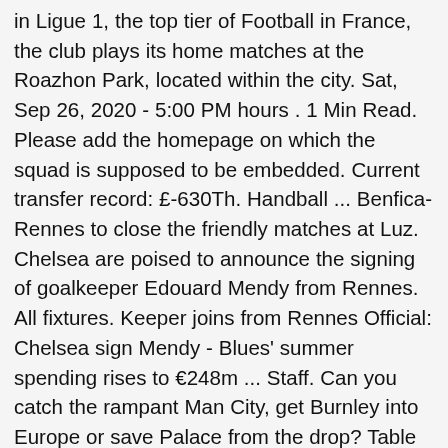in Ligue 1, the top tier of Football in France, the club plays its home matches at the Roazhon Park, located within the city. Sat, Sep 26, 2020 - 5:00 PM hours . 1 Min Read. Please add the homepage on which the squad is supposed to be embedded. Current transfer record: £-630Th. Handball ... Benfica-Rennes to close the friendly matches at Luz. Chelsea are poised to announce the signing of goalkeeper Edouard Mendy from Rennes. All fixtures. Keeper joins from Rennes Official: Chelsea sign Mendy - Blues' summer spending rises to €248m ... Staff. Can you catch the rampant Man City, get Burnley into Europe or save Palace from the drop? Table position . 5. Stadium: The squad overview can be embedded on the own homepage via iframe. Coaching Staff Women's Football B Team See More First team. Find out everything you need to know about Rennes in FM2020 including Transfer and Wage Budget, Training and Youth Facilities and squad info. FILE PHOTO: Soccer Football - Europa League - Stade Rennes Training - Celtic Park, Glasgow, Scotland, Britain - November 27, 2019 Stade Rennes' … Julien Stéphan. ×. Submit changes to the biggest FM20 Transfer Update. Get the most out of